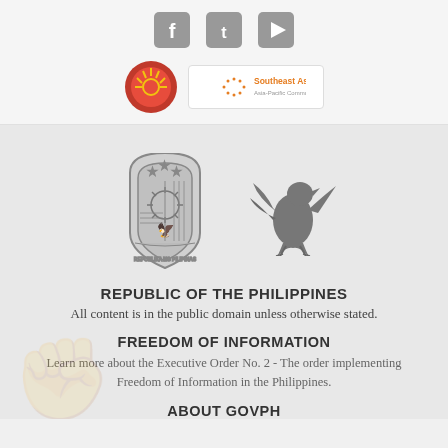[Figure (illustration): Social media icons: Facebook, Twitter, YouTube in gray rounded square style]
[Figure (logo): ASEAN circular logo (red/yellow) and Southeast Asia text logo in white box]
[Figure (illustration): Philippine government seal (Republika ng Pilipinas) and Philippine Eagle silhouette in gray]
REPUBLIC OF THE PHILIPPINES
All content is in the public domain unless otherwise stated.
FREEDOM OF INFORMATION
Learn more about the Executive Order No. 2 - The order implementing Freedom of Information in the Philippines.
ABOUT GOVPH